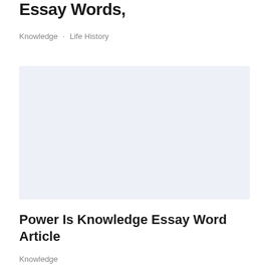Essay Words,
Knowledge · Life History
[Figure (other): Light blue-grey rectangular placeholder image]
Power Is Knowledge Essay Word Article
Knowledge